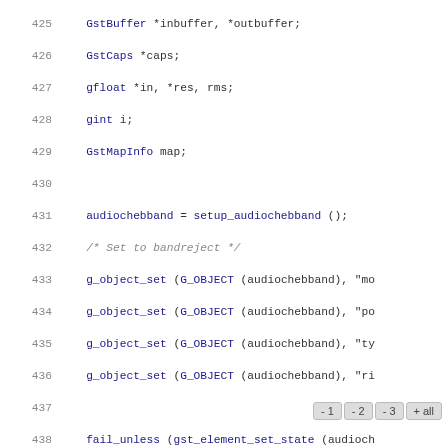Code listing lines 425–454 showing C source code for audiochebband GStreamer unit test, including variable declarations, setup, g_object_set calls, fail_unless, buffer allocation, and a for loop.